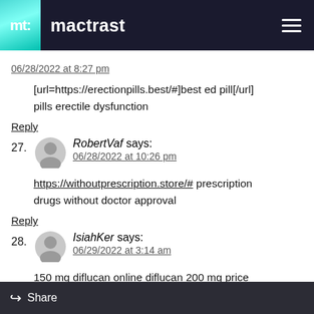mactrast
06/28/2022 at 8:27 pm
[url=https://erectionpills.best/#]best ed pill[/url] pills erectile dysfunction
Reply
27. RobertVaf says:
06/28/2022 at 10:26 pm
https://withoutprescription.store/# prescription drugs without doctor approval
Reply
28. IsiahKer says:
06/29/2022 at 3:14 am
150 mg diflucan online diflucan 200 mg price south africa